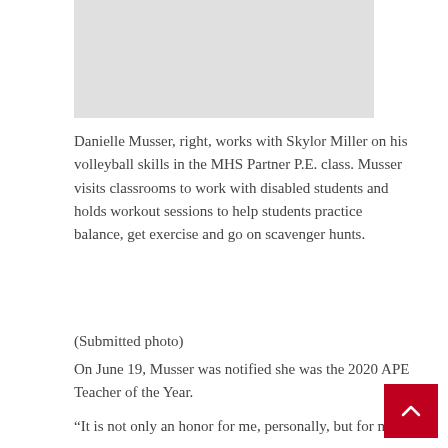[Figure (photo): Gray placeholder image area at top of page]
Danielle Musser, right, works with Skylor Miller on his volleyball skills in the MHS Partner P.E. class. Musser visits classrooms to work with disabled students and holds workout sessions to help students practice balance, get exercise and go on scavenger hunts.
(Submitted photo)
On June 19, Musser was notified she was the 2020 APE Teacher of the Year.
“It is not only an honor for me, personally, but for my students, families, fellow students, and school community…